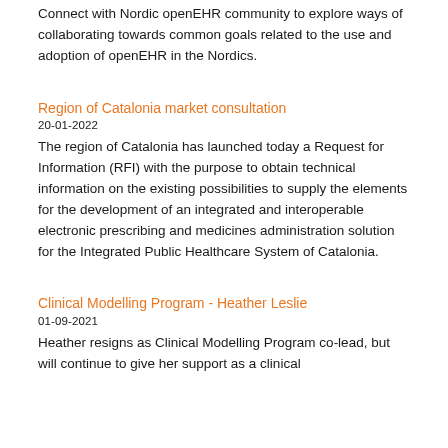Connect with Nordic openEHR community to explore ways of collaborating towards common goals related to the use and adoption of openEHR in the Nordics.
Region of Catalonia market consultation
20-01-2022
The region of Catalonia has launched today a Request for Information (RFI) with the purpose to obtain technical information on the existing possibilities to supply the elements for the development of an integrated and interoperable electronic prescribing and medicines administration solution for the Integrated Public Healthcare System of Catalonia.
Clinical Modelling Program - Heather Leslie
01-09-2021
Heather resigns as Clinical Modelling Program co-lead, but will continue to give her support as a clinical